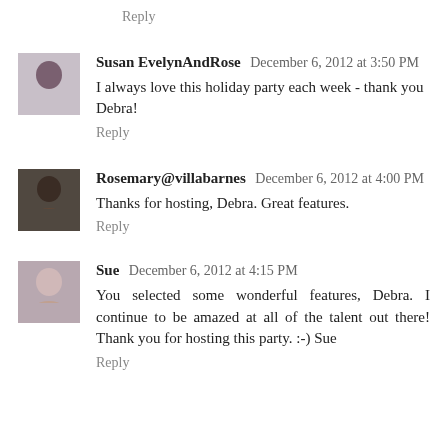Reply
Susan EvelynAndRose  December 6, 2012 at 3:50 PM
I always love this holiday party each week - thank you Debra!
Reply
Rosemary@villabarnes  December 6, 2012 at 4:00 PM
Thanks for hosting, Debra. Great features.
Reply
Sue  December 6, 2012 at 4:15 PM
You selected some wonderful features, Debra. I continue to be amazed at all of the talent out there! Thank you for hosting this party. :-) Sue
Reply